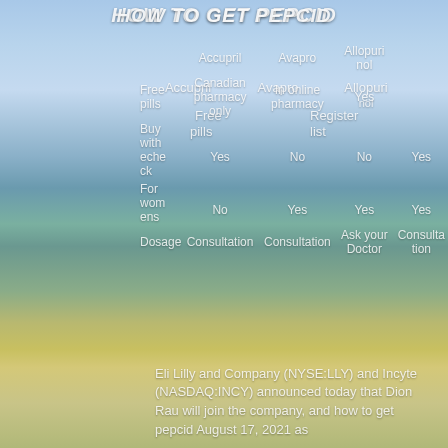HOW TO GET PEPCID
|  | Accupril | Avapro | Allopurinol |
| --- | --- | --- | --- |
| Free pills | Canadian pharmacy only | In online pharmacy | Yes |
| Buy with echeck | No | No | Yes |
| For womens | No | Yes | Yes |
| Dosage | Consultation | Consultation | Ask your Doctor | Consultation |
Eli Lilly and Company (NYSE:LLY) and Incyte (NASDAQ:INCY) announced today that Dion Rau will join the company, and how to get pepcid August 17, 2021 as